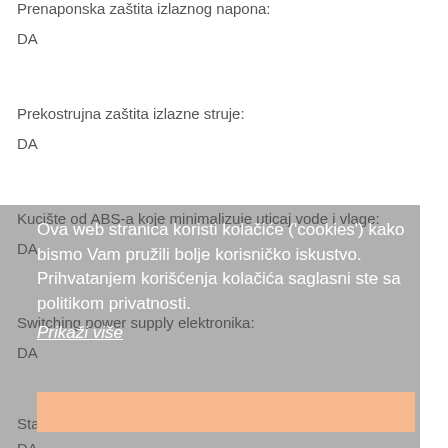Prenaponska zaštita izlaznog napona:
DA
Prekostrujna zaštita izlazne struje:
DA
Kucište od ABS-a koje minimalizuje uticaj vode i vlage:
DA
Ova web stranica koristi kolačiće ('cookies') kako bismo Vam pružili bolje korisničko iskustvo. Prihvatanjem korišćenja kolačića saglasni ste sa politikom privatnosti.
Prikaži više
Switching power supply elektronika:
DA
Stabilisan DC napon bez surge pikova:
DA